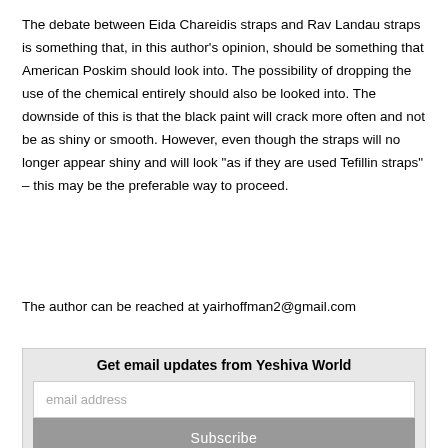The debate between Eida Chareidis straps and Rav Landau straps is something that, in this author's opinion, should be something that American Poskim should look into. The possibility of dropping the use of the chemical entirely should also be looked into. The downside of this is that the black paint will crack more often and not be as shiny or smooth. However, even though the straps will no longer appear shiny and will look "as if they are used Tefillin straps" – this may be the preferable way to proceed.
The author can be reached at yairhoffman2@gmail.com
| Get email updates from Yeshiva World |
| email address |
| Subscribe |